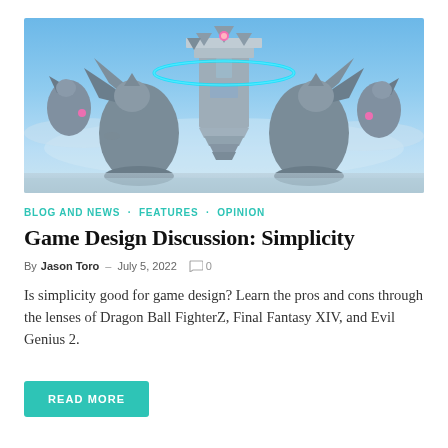[Figure (photo): Screenshot from a fantasy video game showing large stone griffin statues flanking a grand staircase leading to an ornate castle/tower in the sky, with a glowing blue ring and pink orb floating above. Blue sky background with floating islands.]
BLOG AND NEWS · FEATURES · OPINION
Game Design Discussion: Simplicity
By Jason Toro – July 5, 2022  ○ 0
Is simplicity good for game design? Learn the pros and cons through the lenses of Dragon Ball FighterZ, Final Fantasy XIV, and Evil Genius 2.
READ MORE